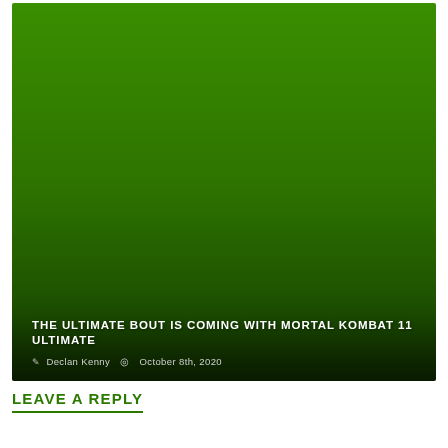[Figure (photo): Large green image (appears to be a green screen or game artwork background) with a dark gradient overlay at the bottom containing article title and author metadata.]
THE ULTIMATE BOUT IS COMING WITH MORTAL KOMBAT 11 ULTIMATE
Declan Kenny  October 8th, 2020
LEAVE A REPLY